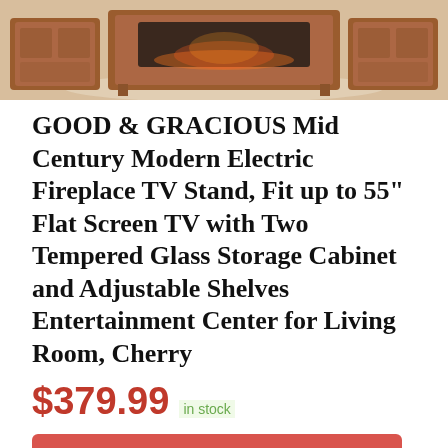[Figure (photo): Photo of a mid-century modern electric fireplace TV stand in cherry wood finish with tempered glass cabinet doors, shown in a living room setting]
GOOD & GRACIOUS Mid Century Modern Electric Fireplace TV Stand, Fit up to 55" Flat Screen TV with Two Tempered Glass Storage Cabinet and Adjustable Shelves Entertainment Center for Living Room, Cherry
$379.99 in stock
BUY NOW
Amazon.com
as of June 20, 2022 9:57 am ℹ